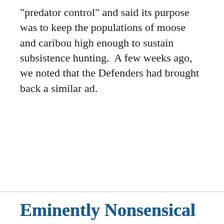"predator control" and said its purpose was to keep the populations of moose and caribou high enough to sustain subsistence hunting.  A few weeks ago, we noted that the Defenders had brought back a similar ad.
Eminently Nonsensical
March 12, 2009
Every so often, we here at FactCheck.org get a slew of questions about some huge clandestine shadowy government conspiracy. Here’s the problem with those questions: If it’s a clandestine shadowy government conspiracy, it’s a little hard to confirm or deny — but c… In fact, that h…